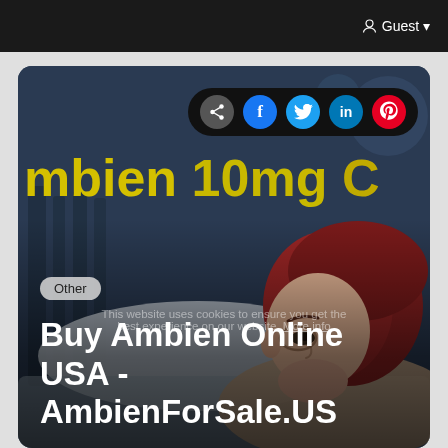Guest
[Figure (illustration): Animated illustration of a woman with red hair lying in bed unable to sleep, with dark blue background and pill bottle/medication imagery. Yellow bold text reads 'ambien 10mg' across the top of the image. Social share bar with icons for share, Facebook, Twitter, LinkedIn, Pinterest overlaid at the top.]
Other
Buy Ambien Online USA - AmbienForSale.US